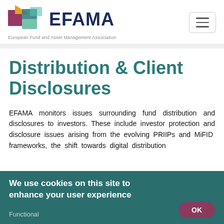[Figure (logo): EFAMA logo with colorful geometric arrow shapes and text 'EFAMA' in dark navy, with tagline 'European Fund and Asset Management Association']
Distribution & Client Disclosures
EFAMA monitors issues surrounding fund distribution and disclosures to investors. These include investor protection and disclosure issues arising from the evolving PRIIPs and MiFID frameworks, the shift towards digital distribution
We use cookies on this site to enhance your user experience
Functional